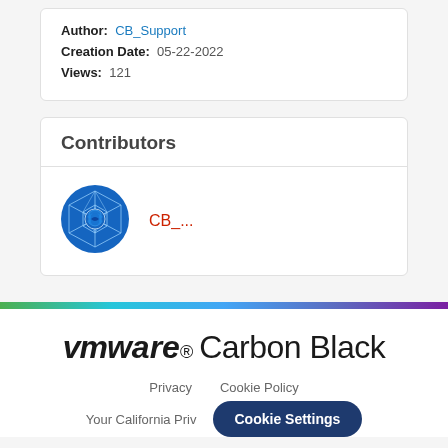Author: CB_Support
Creation Date: 05-22-2022
Views: 121
Contributors
CB_...
[Figure (logo): VMware Carbon Black logo with VM stylized text and Carbon Black wordmark]
Privacy   Cookie Policy
Your California Priv...
Cookie Settings